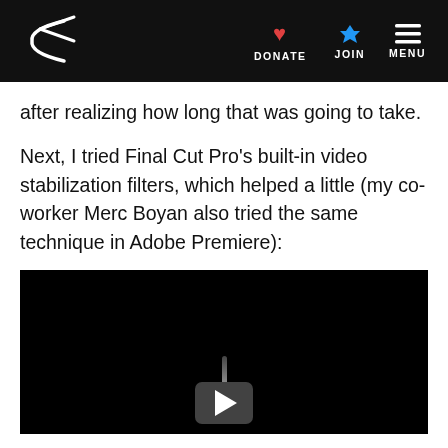Planetary Society — DONATE | JOIN | MENU
after realizing how long that was going to take.
Next, I tried Final Cut Pro's built-in video stabilization filters, which helped a little (my co-worker Merc Boyan also tried the same technique in Adobe Premiere):
[Figure (screenshot): Embedded video player with black background and a play button icon visible at the bottom center]